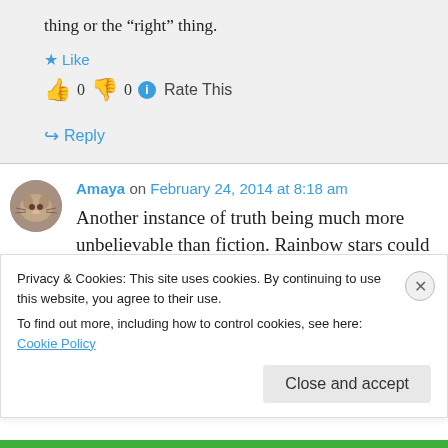thing or the “right” thing.
★ Like
👍 0 👎 0 ⓘ Rate This
↪ Reply
Amaya on February 24, 2014 at 8:18 am
Another instance of truth being much more unbelievable than fiction. Rainbow stars could
Privacy & Cookies: This site uses cookies. By continuing to use this website, you agree to their use.
To find out more, including how to control cookies, see here: Cookie Policy
Close and accept